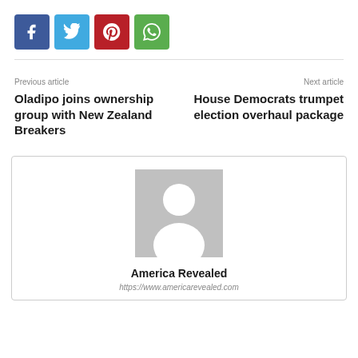[Figure (infographic): Four social share buttons: Facebook (blue), Twitter (light blue), Pinterest (red), WhatsApp (green)]
Previous article
Oladipo joins ownership group with New Zealand Breakers
Next article
House Democrats trumpet election overhaul package
[Figure (photo): Generic user avatar placeholder — grey square with white silhouette of a person]
America Revealed
https://www.americarevealed.com